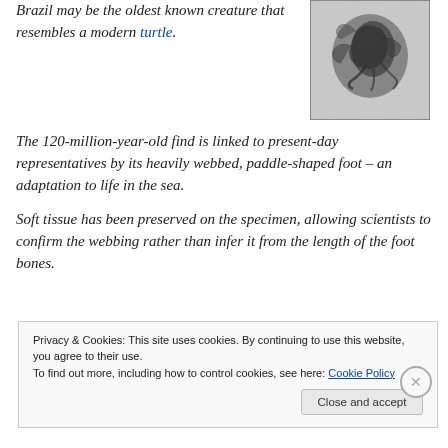Brazil may be the oldest known creature that resembles a modern turtle.
[Figure (photo): Black and white photograph of a fossil specimen showing the ancient turtle-like reptile discovered in Brazil, with visible bone structures against a light stone background.]
The 120-million-year-old find is linked to present-day representatives by its heavily webbed, paddle-shaped foot – an adaptation to life in the sea.
Soft tissue has been preserved on the specimen, allowing scientists to confirm the webbing rather than infer it from the length of the foot bones.
Privacy & Cookies: This site uses cookies. By continuing to use this website, you agree to their use.
To find out more, including how to control cookies, see here: Cookie Policy